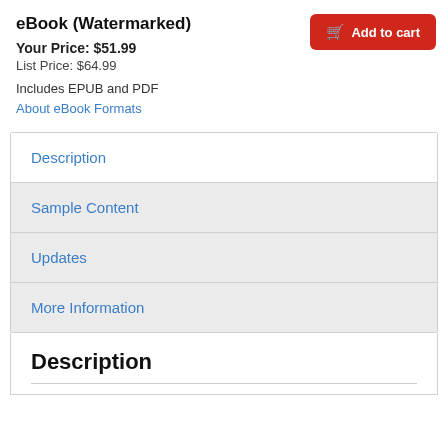eBook (Watermarked)
Your Price: $51.99
List Price: $64.99
Includes EPUB and PDF
About eBook Formats
Description
Sample Content
Updates
More Information
Description